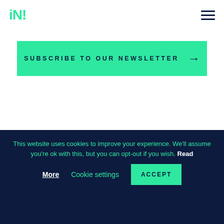iN! [logo] [hamburger menu]
SUBSCRIBE TO OUR NEWSLETTER →
Share
[Figure (other): Three social media share buttons: Facebook, LinkedIn, Twitter, each on a green (#2ee8a0) square background with dark navy icons]
This website uses cookies to improve your experience. We'll assume you're ok with this, but you can opt-out if you wish. Read More Cookie settings ACCEPT